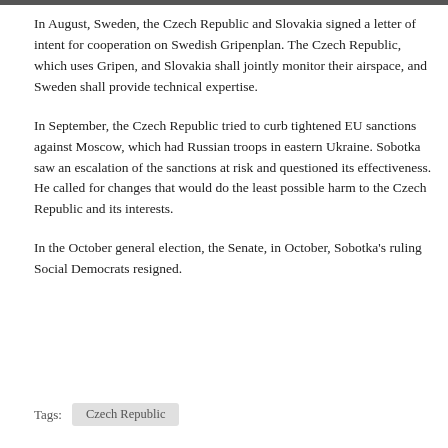In August, Sweden, the Czech Republic and Slovakia signed a letter of intent for cooperation on Swedish Gripenplan. The Czech Republic, which uses Gripen, and Slovakia shall jointly monitor their airspace, and Sweden shall provide technical expertise.
In September, the Czech Republic tried to curb tightened EU sanctions against Moscow, which had Russian troops in eastern Ukraine. Sobotka saw an escalation of the sanctions at risk and questioned its effectiveness. He called for changes that would do the least possible harm to the Czech Republic and its interests.
In the October general election, the Senate, in October, Sobotka's ruling Social Democrats resigned.
Tags:  Czech Republic